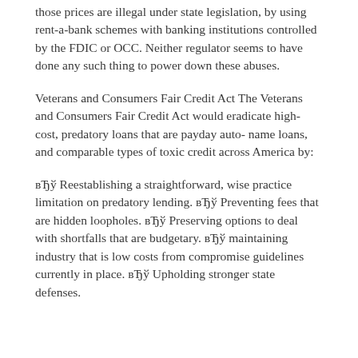those prices are illegal under state legislation, by using rent-a-bank schemes with banking institutions controlled by the FDIC or OCC. Neither regulator seems to have done any such thing to power down these abuses.
Veterans and Consumers Fair Credit Act The Veterans and Consumers Fair Credit Act would eradicate high-cost, predatory loans that are payday auto- name loans, and comparable types of toxic credit across America by:
вЂў Reestablishing a straightforward, wise practice limitation on predatory lending. вЂў Preventing fees that are hidden loopholes. вЂў Preserving options to deal with shortfalls that are budgetary. вЂў maintaining industry that is low costs from compromise guidelines currently in place. вЂў Upholding stronger state defenses.